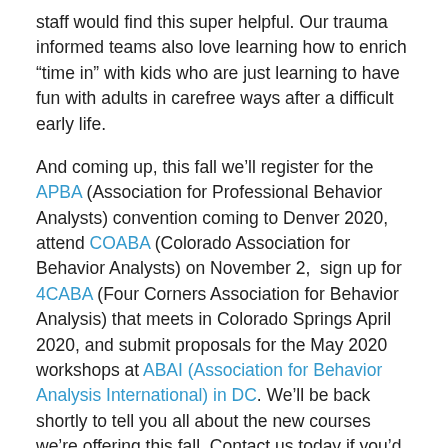staff would find this super helpful. Our trauma informed teams also love learning how to enrich “time in” with kids who are just learning to have fun with adults in carefree ways after a difficult early life.
And coming up, this fall we’ll register for the APBA (Association for Professional Behavior Analysts) convention coming to Denver 2020, attend COABA (Colorado Association for Behavior Analysts) on November 2,  sign up for 4CABA (Four Corners Association for Behavior Analysis) that meets in Colorado Springs April 2020, and submit proposals for the May 2020 workshops at ABAI (Association for Behavior Analysis International) in DC. We’ll be back shortly to tell you all about the new courses we’re offering this fall. Contact us today if you’d like Cusp Emergence to tailor an online